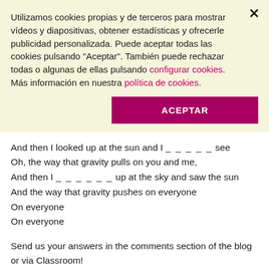Utilizamos cookies propias y de terceros para mostrar vídeos y diapositivas, obtener estadísticas y ofrecerle publicidad personalizada. Puede aceptar todas las cookies pulsando "Aceptar". También puede rechazar todas o algunas de ellas pulsando configurar cookies. Más información en nuestra política de cookies.
ACEPTAR
And then I looked up at the sun and I _ _ _ _ _ see
Oh, the way that gravity pulls on you and me,
And then I _ _ _ _ _ _ up at the sky and saw the sun
And the way that gravity pushes on everyone
On everyone
On everyone
Send us your answers in the comments section of the blog or via Classroom!